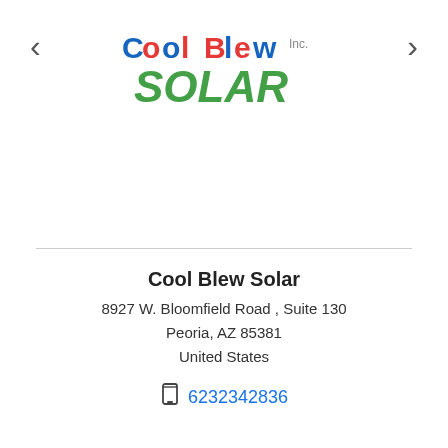[Figure (logo): Cool Blew Solar logo with colorful text and green SOLAR word]
Cool Blew Solar
8927 W. Bloomfield Road , Suite 130
Peoria, AZ 85381
United States
6232342836